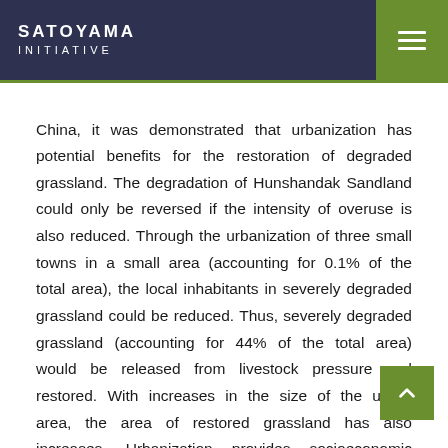SATOYAMA INITIATIVE
China, it was demonstrated that urbanization has potential benefits for the restoration of degraded grassland. The degradation of Hunshandak Sandland could only be reversed if the intensity of overuse is also reduced. Through the urbanization of three small towns in a small area (accounting for 0.1% of the total area), the local inhabitants in severely degraded grassland could be reduced. Thus, severely degraded grassland (accounting for 44% of the total area) would be released from livestock pressure and restored. With increases in the size of the urban area, the area of restored grassland has also increases. Urbanization provides socioeconomic benefits to the grassland area in terms of the economy, education, science, entertainment and